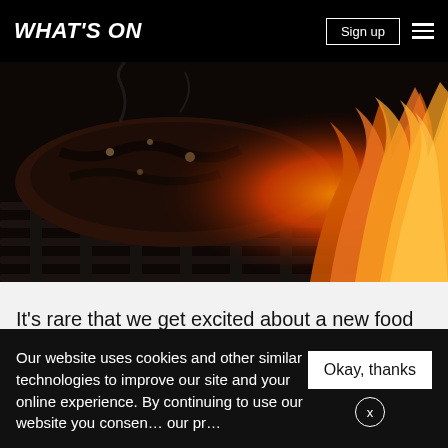WHAT'S ON
[Figure (photo): Close-up photo of a sizzling steak on a grill with open flames and fire in the background]
It's rare that we get excited about a new food delivery option, but with the announcement that BOA Steakhouse is now delivering, this is one of those rare times. Medium
Our website uses cookies and other similar technologies to improve our site and your online experience. By continuing to use our website you consen... our pr...